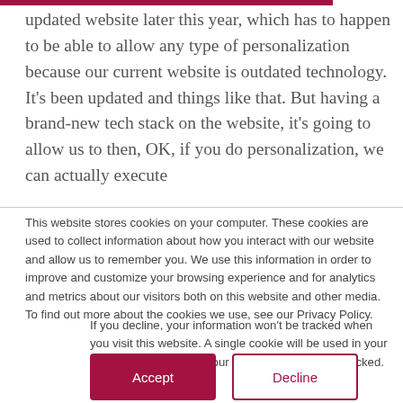updated website later this year, which has to happen to be able to allow any type of personalization because our current website is outdated technology. It's been updated and things like that. But having a brand-new tech stack on the website, it's going to allow us to then, OK, if you do personalization, we can actually execute
This website stores cookies on your computer. These cookies are used to collect information about how you interact with our website and allow us to remember you. We use this information in order to improve and customize your browsing experience and for analytics and metrics about our visitors both on this website and other media. To find out more about the cookies we use, see our Privacy Policy.
If you decline, your information won't be tracked when you visit this website. A single cookie will be used in your browser to remember your preference not to be tracked.